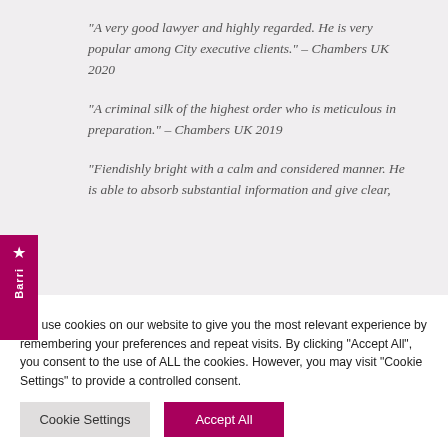“A very good lawyer and highly regarded. He is very popular among City executive clients.” – Chambers UK 2020
“A criminal silk of the highest order who is meticulous in preparation.” – Chambers UK 2019
“Fiendishly bright with a calm and considered manner. He is able to absorb substantial information and give clear,
We use cookies on our website to give you the most relevant experience by remembering your preferences and repeat visits. By clicking "Accept All", you consent to the use of ALL the cookies. However, you may visit "Cookie Settings" to provide a controlled consent.